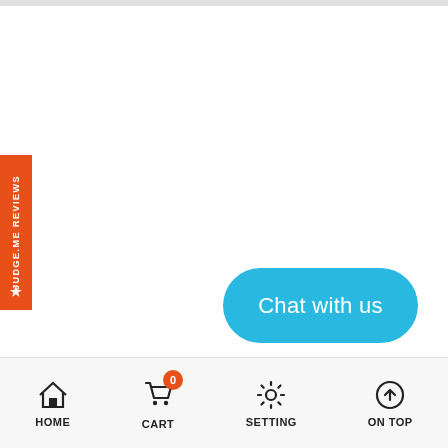[Figure (screenshot): Orange vertical sidebar tab with star icon and text 'JUDGE.ME REVIEWS' written vertically]
[Figure (screenshot): Cyan/blue rounded pill-shaped chat button with text 'Chat with us']
HOME  CART  SETTING  ON TOP